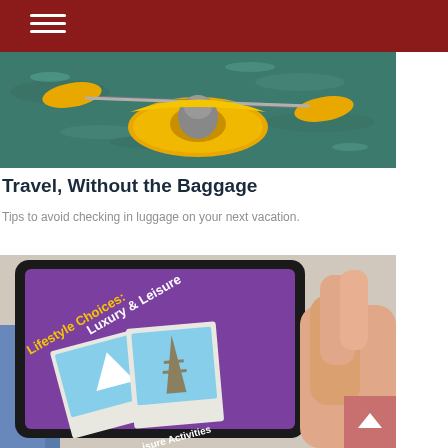[Figure (photo): A person kayaking in a yellow kayak on teal-green water, view from above showing the paddle and cockpit.]
Travel, Without the Baggage
Tips to avoid checking in luggage on your next vacation.
[Figure (photo): A hand holding a tablet displaying a purple screen with text 'Lifestyle Choices: Luxury & Leisure' and polaroid-style photos of a sailboat and the Eiffel Tower, with text 'isure Activities' at the bottom.]